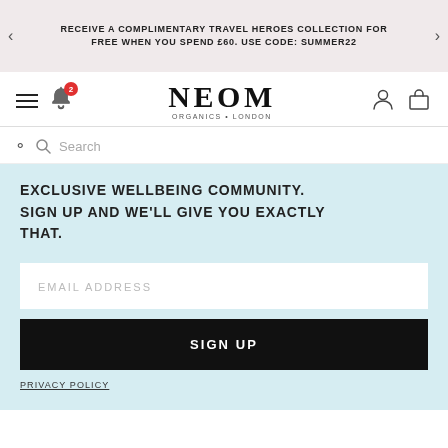RECEIVE A COMPLIMENTARY TRAVEL HEROES COLLECTION FOR FREE WHEN YOU SPEND £60. USE CODE: SUMMER22
[Figure (logo): NEOM Organics London logo with hamburger menu, bell notification icon with badge 2, user icon and shopping bag icon]
Search
EXCLUSIVE WELLBEING COMMUNITY. SIGN UP AND WE'LL GIVE YOU EXACTLY THAT.
EMAIL ADDRESS
SIGN UP
PRIVACY POLICY